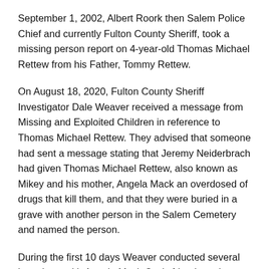September 1, 2002, Albert Roork then Salem Police Chief and currently Fulton County Sheriff, took a missing person report on 4-year-old Thomas Michael Rettew from his Father, Tommy Rettew.
On August 18, 2020, Fulton County Sheriff Investigator Dale Weaver received a message from Missing and Exploited Children in reference to Thomas Michael Rettew. They advised that someone had sent a message stating that Jeremy Neiderbrach had given Thomas Michael Rettew, also known as Mikey and his mother, Angela Mack an overdosed of drugs that kill them, and that they were buried in a grave with another person in the Salem Cemetery and named the person.
During the first 10 days Weaver conducted several interviews with Angela Mack Cox's friends and family. He learned that